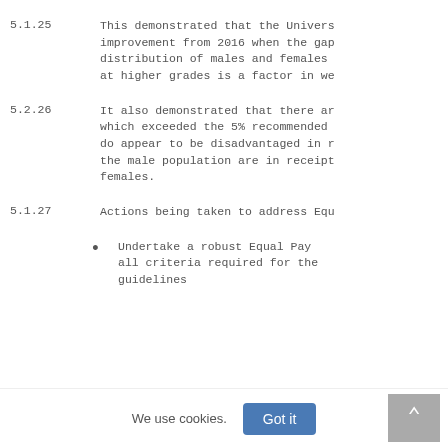5.1.25  This demonstrated that the Univers improvement from 2016 when the gap distribution of males and females at higher grades is a factor in we
5.2.26  It also demonstrated that there ar which exceeded the 5% recommended do appear to be disadvantaged in r the male population are in receipt females.
5.1.27  Actions being taken to address Equ
Undertake a robust Equal Pay all criteria required for the guidelines
We use cookies.